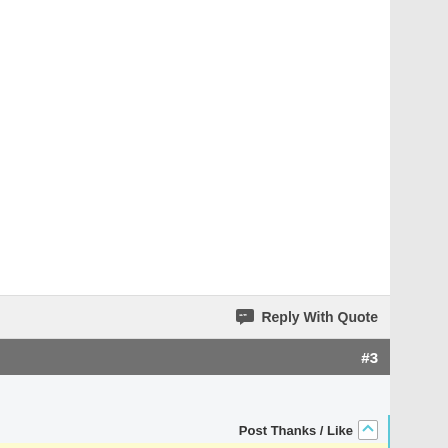Reply With Quote
#3
| Join Date: | Feb 2020 |
| Location: | Bonne Terre |
| Posts: | 11 |
Post Thanks / Like
Thread Starter
BACK TO TOP